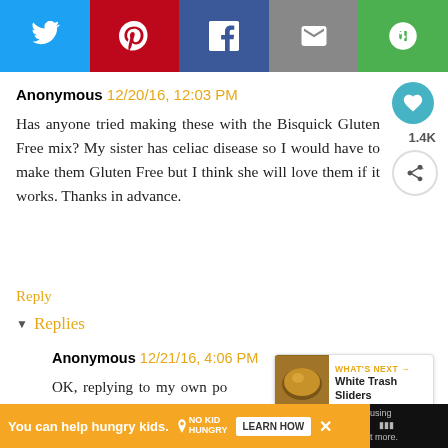[Figure (screenshot): Social media share bar with Twitter, Pinterest, Facebook, Email, and another share button icons]
Anonymous 12/20/16, 12:03 PM
Has anyone tried making these with the Bisquick Gluten Free mix? My sister has celiac disease so I would have to make them Gluten Free but I think she will love them if it works. Thanks in advance.
Reply
▸ Replies
Anonymous 12/21/16, 4:06 PM
OK, replying to my own po... them using the Gluten Free Bisquick
[Figure (infographic): What's Next panel showing White Trash Sliders thumbnail]
You can help hungry kids. NO KID HUNGRY LEARN HOW